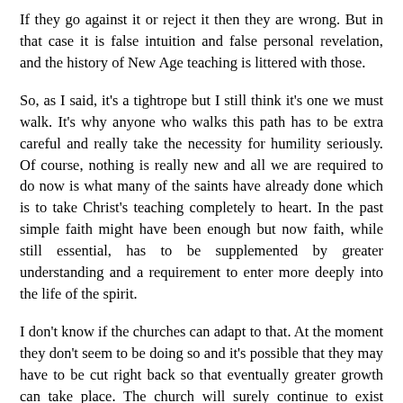If they go against it or reject it then they are wrong. But in that case it is false intuition and false personal revelation, and the history of New Age teaching is littered with those.
So, as I said, it's a tightrope but I still think it's one we must walk. It's why anyone who walks this path has to be extra careful and really take the necessity for humility seriously. Of course, nothing is really new and all we are required to do now is what many of the saints have already done which is to take Christ's teaching completely to heart. In the past simple faith might have been enough but now faith, while still essential, has to be supplemented by greater understanding and a requirement to enter more deeply into the life of the spirit.
I don't know if the churches can adapt to that. At the moment they don't seem to be doing so and it's possible that they may have to be cut right back so that eventually greater growth can take place. The church will surely continue to exist because it does guard the public truth of Christianity and you can't just have lots of individuals doing their own thing. You need a community and a central body.